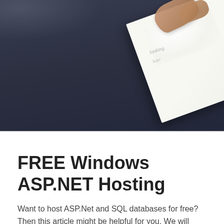[Figure (photo): A hand holding a notebook/notepad with handwriting on it, placed on a dark gray surface. The photo is taken from above at an angle, showing the corner of an open notebook with cursive writing visible, resting on a dark charcoal colored table.]
FREE Windows ASP.NET Hosting
Want to host ASP.Net and SQL databases for free? Then this article might be helpful for you. We will cover some of